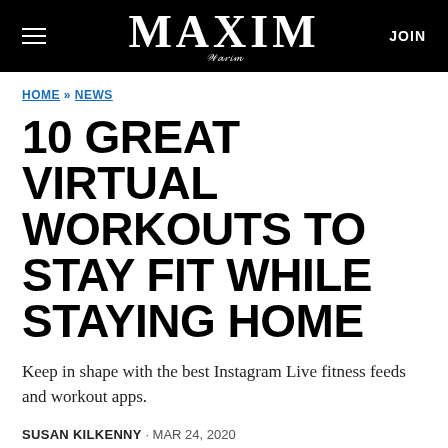MAXIM  JOIN
HOME » NEWS
10 GREAT VIRTUAL WORKOUTS TO STAY FIT WHILE STAYING HOME
Keep in shape with the best Instagram Live fitness feeds and workout apps.
SUSAN KILKENNY · MAR 24, 2020